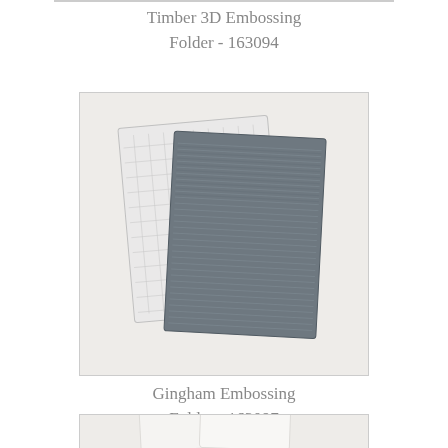Timber 3D Embossing Folder - 163094
[Figure (photo): Two embossing folder sheets: one translucent/clear with a grid pattern and one dark gray with a horizontal line/timber wood grain texture pattern, overlapping each other on a light beige background.]
Gingham Embossing Folder - 163097
[Figure (photo): Partial view of two white/cream embossing folder sheets on a light beige background, shown at the bottom of the page.]